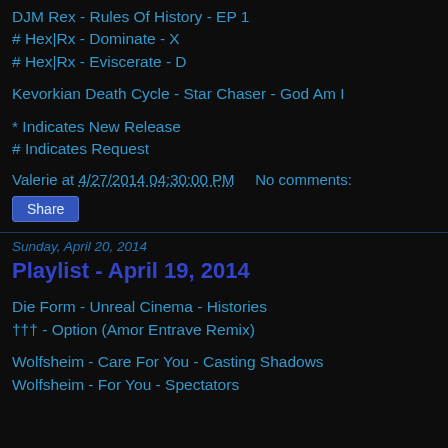DJM Rex - Rules Of History - EP 1
# Hex|Rx - Dominate - X
# Hex|Rx - Eviscerate - D
Kevorkian Death Cycle - Star Chaser - God Am I
* Indicates New Release
# Indicates Request
Valerie at 4/27/2014 04:30:00 PM    No comments:
Share
Sunday, April 20, 2014
Playlist - April 19, 2014
Die Form - Unreal Cinema - Histories
††† - Option (Amor Entrave Remix)
Wolfsheim - Care For You - Casting Shadows
Wolfsheim - For You - Spectators